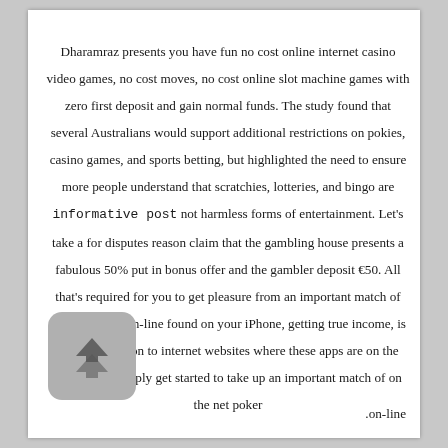Dharamraz presents you have fun no cost online internet casino video games, no cost moves, no cost online slot machine games with zero first deposit and gain normal funds. The study found that several Australians would support additional restrictions on pokies, casino games, and sports betting, but highlighted the need to ensure more people understand that scratchies, lotteries, and bingo are informative post not harmless forms of entertainment. Let's take a for disputes reason claim that the gambling house presents a fabulous 50% put in bonus offer and the gambler deposit €50. All that's required for you to get pleasure from an important match of cellular poker on-line found on your iPhone, getting true income, is to visit found on to internet websites where these apps are on the market and simply get started to take up an important match of on the net poker .on-line
[Figure (illustration): A scroll-to-top button icon showing upward chevron arrows on a rounded gray square background]